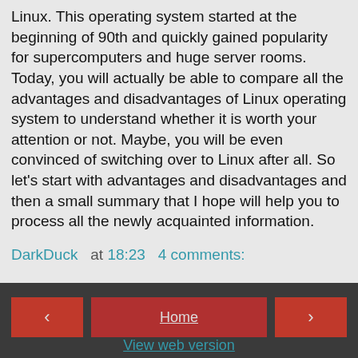Linux. This operating system started at the beginning of 90th and quickly gained popularity for supercomputers and huge server rooms. Today, you will actually be able to compare all the advantages and disadvantages of Linux operating system to understand whether it is worth your attention or not. Maybe, you will be even convinced of switching over to Linux after all. So let's start with advantages and disadvantages and then a small summary that I hope will help you to process all the newly acquainted information.
DarkDuck  at 18:23  4 comments:
< Home > View web version Powered by Blogger.